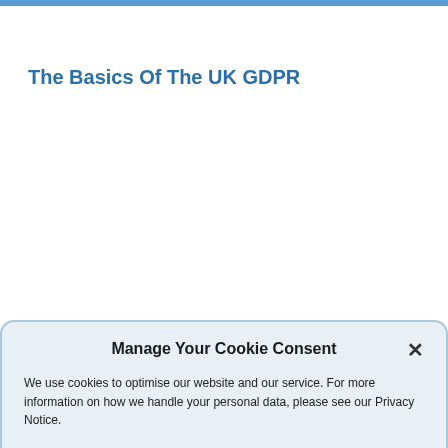The Basics Of The UK GDPR
Manage Your Cookie Consent
We use cookies to optimise our website and our service. For more information on how we handle your personal data, please see our Privacy Notice.